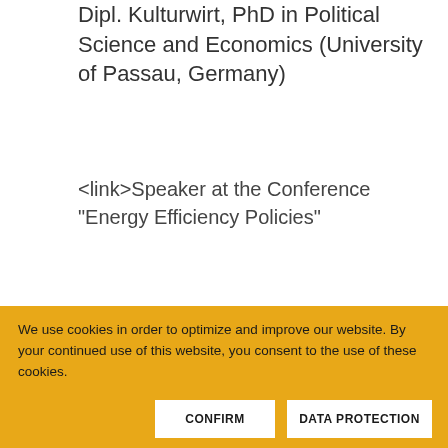Dipl. Kulturwirt, PhD in Political Science and Economics (University of Passau, Germany)
<link>Speaker at the Conference "Energy Efficiency Policies"
[Figure (photo): Headshot photo of a woman with dark short hair and sunglasses on her head, smiling, outdoors with green background.]
We use cookies in order to optimize and improve our website. By your continued use of this website, you consent to the use of these cookies.
CONFIRM
DATA PROTECTION